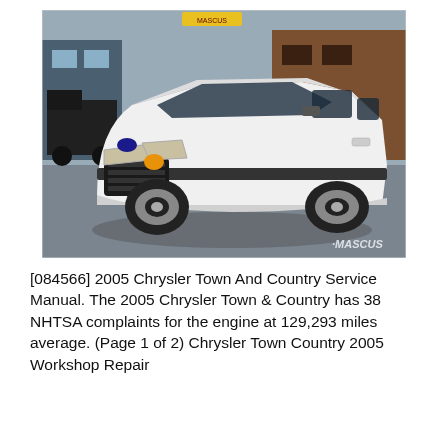[Figure (photo): Photograph of a white 2005 Chrysler Town & Country minivan parked in a lot, taken from a front-three-quarter angle. Buildings and trucks visible in background. Mascus watermark in lower right corner.]
[084566] 2005 Chrysler Town And Country Service Manual. The 2005 Chrysler Town & Country has 38 NHTSA complaints for the engine at 129,293 miles average. (Page 1 of 2) Chrysler Town Country 2005 Workshop Repair